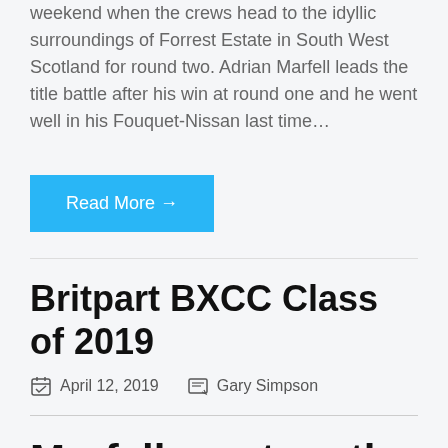weekend when the crews head to the idyllic surroundings of Forrest Estate in South West Scotland for round two. Adrian Marfell leads the title battle after his win at round one and he went well in his Fouquet-Nissan last time…
Read More →
Britpart BXCC Class of 2019
April 12, 2019   Gary Simpson
Marfell masters the conditions to take BXCC Walters win